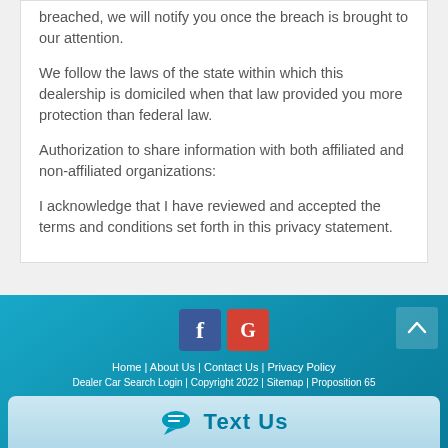breached, we will notify you once the breach is brought to our attention.
We follow the laws of the state within which this dealership is domiciled when that law provided you more protection than federal law.
Authorization to share information with both affiliated and non-affiliated organizations:
I acknowledge that I have reviewed and accepted the terms and conditions set forth in this privacy statement.
Home | About Us | Contact Us | Privacy Policy
Dealer Car Search Login | Copyright 2022 | Sitemap | Proposition 65
Text Us